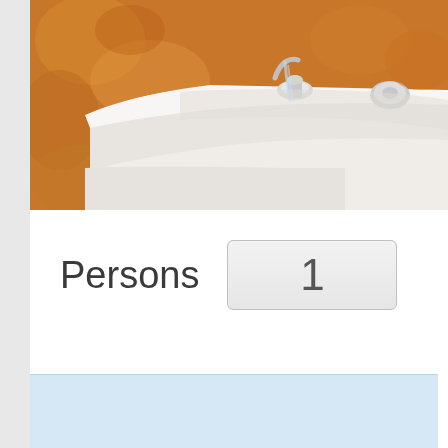[Figure (photo): Close-up photo of a white bathtub with chrome faucet fixtures against an orange/golden textured wall. Water appears to be running from the faucet.]
Persons  1
[Figure (other): Light blue panel at the bottom of the page, partially visible.]